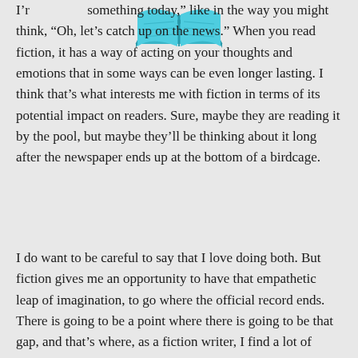[Figure (logo): Open book logo in teal/blue color at top center of page]
I'r… something today,” like in the way you might think, “Oh, let’s catch up on the news.” When you read fiction, it has a way of acting on your thoughts and emotions that in some ways can be even longer lasting. I think that’s what interests me with fiction in terms of its potential impact on readers. Sure, maybe they are reading it by the pool, but maybe they’ll be thinking about it long after the newspaper ends up at the bottom of a birdcage.
I do want to be careful to say that I love doing both. But fiction gives me an opportunity to have that empathetic leap of imagination, to go where the official record ends. There is going to be a point where there is going to be that gap, and that’s where, as a fiction writer, I find a lot of